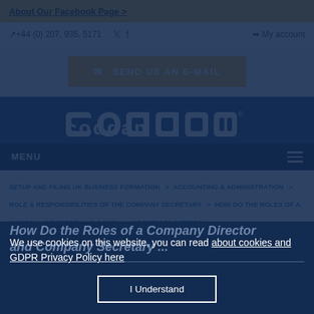About Our Facebook Page >
↗+44 (0) 207. 935. 5171  🐦 f  ➡ My account
✉ SEND US AN E-MAIL
[Figure (logo): Coddan company logo in white on dark blue background]
MENU
SETUP AND FILING UK BUSINESS FORMATION > ACCOUNTING & ADMINISTRATION > ROLE & RESPONSIBILITIES OF THE COMPANY SECRETARY > HOW DO THE ROLES OF A COMPANY DIRECTOR AND COMPANY SECRETARY DIFFER?
How Do the Roles of a Company Director and Company Secretary ...
We use cookies on this website, you can read about cookies and GDPR Privacy Policy here
I Understand